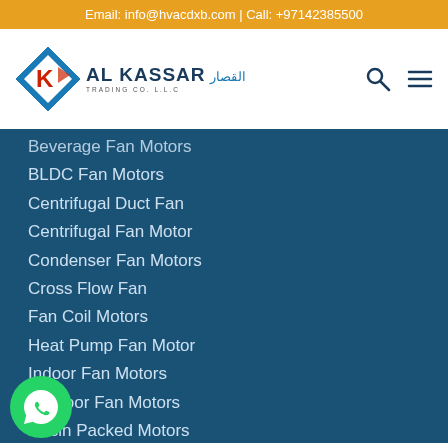Email: info@hvacdxb.com | Call: +97142385500
[Figure (logo): Al Kassar Trading Co. L.L.C logo with diamond shape and Arabic text]
Beverage Fan Motors
BLDC Fan Motors
Centrifugal Duct Fan
Centrifugal Fan Motor
Condenser Fan Motors
Cross Flow Fan
Fan Coil Motors
Heat Pump Fan Motor
Indoor Fan Motors
Outdoor Fan Motors
Resin Packed Motors